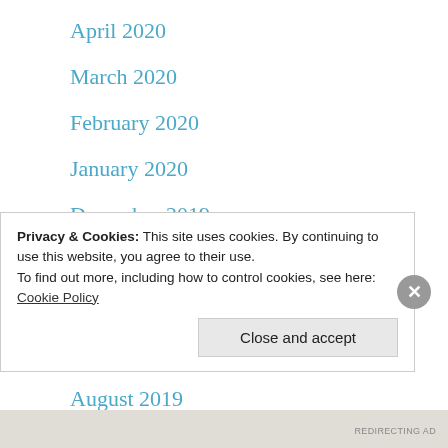April 2020
March 2020
February 2020
January 2020
December 2019
November 2019
October 2019
September 2019
August 2019
July 2019
Privacy & Cookies: This site uses cookies. By continuing to use this website, you agree to their use.
To find out more, including how to control cookies, see here: Cookie Policy
REDIRECTING AD